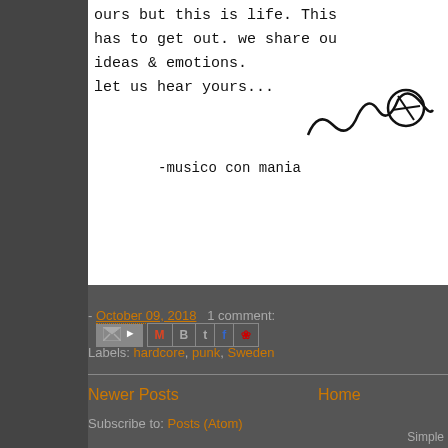[Figure (photo): Scanned typewritten text on white paper showing partial text: 'has to get out. we share ou ideas & emotions. let us hear yours...' with a handwritten signature and text '-musico con mania']
- October 09, 2018  1 comment:
Labels: hardcore, punk, Sweden
Newer Posts
Home
Subscribe to: Posts (Atom)
Simple